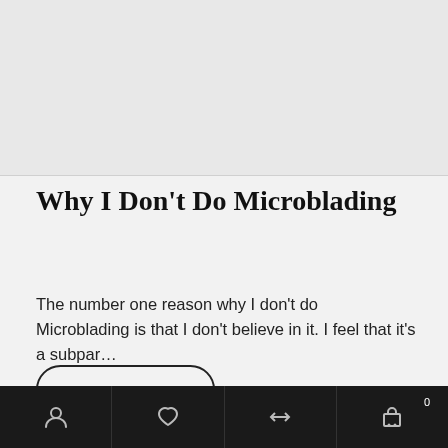[Figure (photo): Gray placeholder image area at top of page]
Why I Don't Do Microblading
The number one reason why I don't do Microblading is that I don't believe in it. I feel that it's a subpar…
READ MORE ›
Navigation bar with account, wishlist, compare, and cart icons